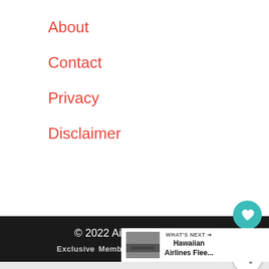About
Contact
Privacy
Disclaimer
© 2022 AirlinesFleet.com
Exclusive Member of Mediavine Travel
WHAT'S NEXT → Hawaiian Airlines Flee...
Firestone
Get An Oil Change Near You
LEARN MORE